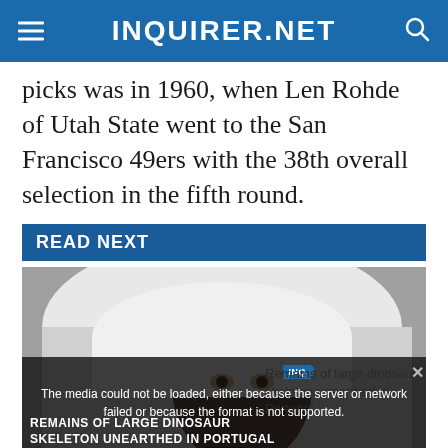INQUIRER.NET
picks was in 1960, when Len Rohde of Utah State went to the San Francisco 49ers with the 38th overall selection in the fifth round.
READ NEXT
[Figure (photo): Person with white cloth covering head, looking at camera; overlaid with video player showing dinosaur skeleton image and media error message.]
The media could not be loaded, either because the server or network failed or because the format is not supported.
Remains of large dinosaur skeleton unearthed in Portugal
REMAINS OF LARGE DINOSAUR SKELETON UNEARTHED IN PORTUGAL